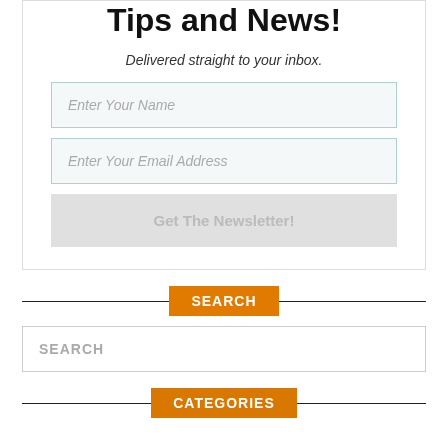Tips and News!
Delivered straight to your inbox.
Enter Your Name
Enter Your Email Address
Get The Newsletter!
SEARCH
SEARCH
CATEGORIES